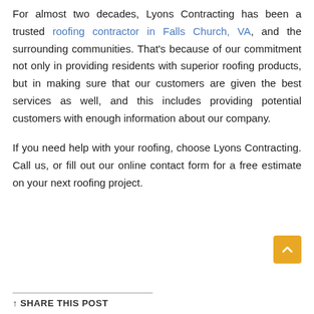For almost two decades, Lyons Contracting has been a trusted roofing contractor in Falls Church, VA, and the surrounding communities. That's because of our commitment not only in providing residents with superior roofing products, but in making sure that our customers are given the best services as well, and this includes providing potential customers with enough information about our company.
If you need help with your roofing, choose Lyons Contracting. Call us, or fill out our online contact form for a free estimate on your next roofing project.
SHARE THIS POST